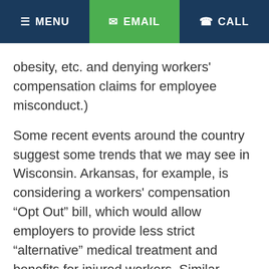MENU | EMAIL | CALL
obesity, etc. and denying workers' compensation claims for employee misconduct.)
Some recent events around the country suggest some trends that we may see in Wisconsin. Arkansas, for example, is considering a workers' compensation “Opt Out” bill, which would allow employers to provide less strict “alternative” medical treatment and benefits for injured workers. Similar attempts have been made in Florida, Tennessee, and South Carolina. Wisconsin, due to its Republican controlled governorship and Senate and Assembly,